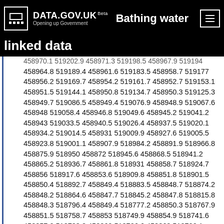DATA.GOV.UK Beta — Bathing water linked data
458970.1 519202.9 458971.3 519198.5 458967.9 519194 458964.8 519189.4 458961.6 519183.5 458958.7 519177 458956.2 519169.7 458954.2 519161.7 458952.7 519153.1 458951.5 519144.1 458950.8 519134.7 458950.3 519125.3 458949.7 519086.5 458949.4 519076.9 458948.9 519067.6 458948 519058.4 458946.8 519049.6 458945.2 519041.2 458943 519033.5 458940.5 519026.4 458937.5 519020.1 458934.2 519014.5 458931 519009.9 458927.6 519005.5 458923.8 519001.1 458907.9 518984.2 458891.9 518966.8 458875.9 518950 458872 518945.6 458868.5 518941.2 458865.2 518936.7 458861.8 518931 458858.7 518924.7 458856 518917.6 458853.6 518909.8 458851.8 518901.5 458850.4 518892.7 458849.4 518883.5 458848.7 518874.2 458848.2 518864.6 458847.7 518845.2 458847.8 518815.8 458848.3 518796.4 458849.4 518777.2 458850.3 518767.9 458851.5 518758.7 458853 518749.9 458854.9 518741.6 458857.2 518733.8 458860 518726.6 458863 518720.1 458866.2 518714.3 458869.2 518709.5 458872.5 518704.7 458882.5 518690.5 458885.5 518685.7 458888.7 518679.9